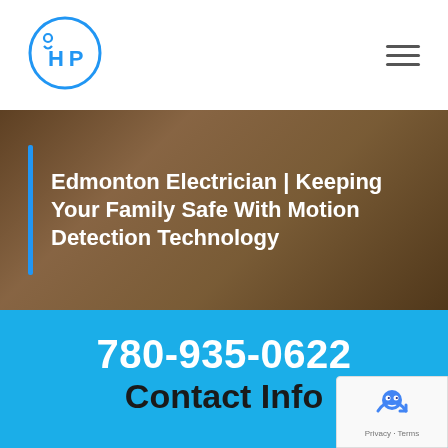[Figure (logo): Round blue logo with stylized HP letters and a small person icon, for an electrician company]
[Figure (other): Hamburger menu icon (three horizontal lines) in the top-right corner of the navigation bar]
Edmonton Electrician | Keeping Your Family Safe With Motion Detection Technology
780-935-0622
Contact Info
[Figure (other): reCAPTCHA badge with robot icon and Privacy - Terms text]